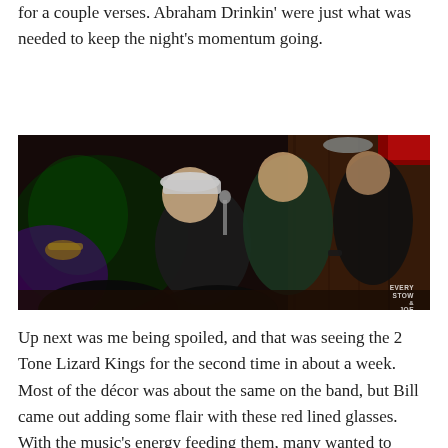for a couple verses. Abraham Drinkin' were just what was needed to keep the night's momentum going.
[Figure (photo): Concert photo showing band members performing on stage under red and green lights. One member wearing a cap sings into a microphone while others play instruments. Watermark reads 'EVERY STOW JOE' in bottom right.]
Up next was me being spoiled, and that was seeing the 2 Tone Lizard Kings for the second time in about a week. Most of the décor was about the same on the band, but Bill came out adding some flair with these red lined glasses. With the music's energy feeding them, many wanted to skank with